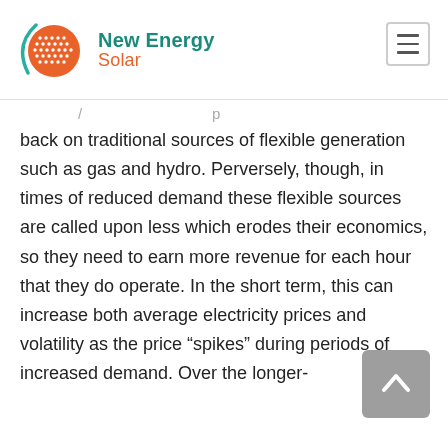[Figure (logo): New Energy Solar logo with orange circle/sun icon and teal/orange text]
back on traditional sources of flexible generation such as gas and hydro. Perversely, though, in times of reduced demand these flexible sources are called upon less which erodes their economics, so they need to earn more revenue for each hour that they do operate. In the short term, this can increase both average electricity prices and volatility as the price “spikes” during periods of increased demand. Over the longer-